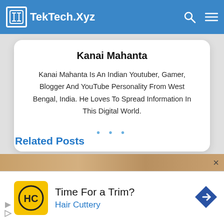TekTech.Xyz
Kanai Mahanta
Kanai Mahanta Is An Indian Youtuber, Gamer, Blogger And YouTube Personality From West Bengal, India. He Loves To Spread Information In This Digital World.
Related Posts
[Figure (photo): Partial image strip for related posts]
[Figure (screenshot): Advertisement banner: Time For a Trim? Hair Cuttery with logo and navigation arrow]